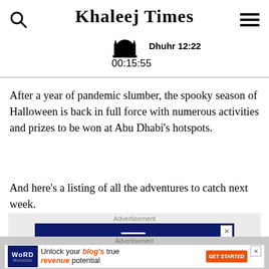Khaleej Times | Dhuhr 12:22 | 00:15:55
After a year of pandemic slumber, the spooky season of Halloween is back in full force with numerous activities and prizes to be won at Abu Dhabi’s hotspots.
And here’s a listing of all the adventures to catch next week.
[Figure (screenshot): Advertisement banner for Word Monetize service inside a dark blue box with the WORD logo]
[Figure (screenshot): Bottom advertisement bar for Word Monetize: Unlock your blog's true revenue potential with GET STARTED button]